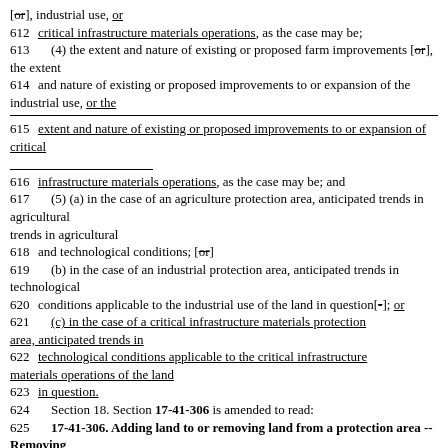[or], industrial use, or
612   critical infrastructure materials operations, as the case may be;
613   (4) the extent and nature of existing or proposed farm improvements [or], the extent
614   and nature of existing or proposed improvements to or expansion of the industrial use, or the
615   extent and nature of existing or proposed improvements to or expansion of critical
616   infrastructure materials operations, as the case may be; and
617   (5) (a) in the case of an agriculture protection area, anticipated trends in agricultural
618   and technological conditions; [or]
619   (b) in the case of an industrial protection area, anticipated trends in technological
620   conditions applicable to the industrial use of the land in question[-]; or
621   (c) in the case of a critical infrastructure materials protection area, anticipated trends in
622   technological conditions applicable to the critical infrastructure materials operations of the land
623   in question.
624   Section 18. Section 17-41-306 is amended to read:
625   17-41-306. Adding land to or removing land from a protection area -- Removing
626   land from a mining protection area.
627   (1) (a) Any owner may add land to an existing agriculture protection area [or],
628   industrial protection area, critical infrastructure materials protection area, as the case may be,